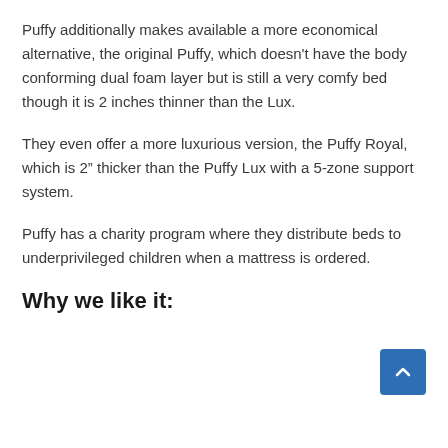Puffy additionally makes available a more economical alternative, the original Puffy, which doesn't have the body conforming dual foam layer but is still a very comfy bed though it is 2 inches thinner than the Lux.
They even offer a more luxurious version, the Puffy Royal, which is 2" thicker than the Puffy Lux with a 5-zone support system.
Puffy has a charity program where they distribute beds to underprivileged children when a mattress is ordered.
Why we like it: